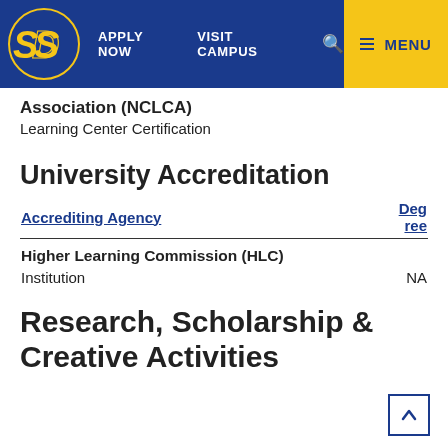APPLY NOW | VISIT CAMPUS | [search] | MENU
Association (NCLCA)
Learning Center Certification
University Accreditation
| Accrediting Agency | Degree |
| --- | --- |
| Higher Learning Commission (HLC) |  |
| Institution | NA |
Research, Scholarship & Creative Activities